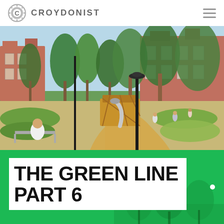CROYDONIST
[Figure (photo): Outdoor park scene with trees, a playground structure with a silver slide, a black lamp post, sandy path, green planted beds, red brick Victorian buildings in the background, and a person in a white shirt sitting on a bench in the foreground.]
THE GREEN LINE PART 6